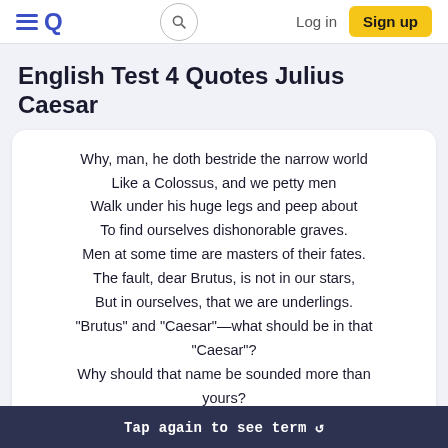EQ | Search | Log in | Sign up
English Test 4 Quotes Julius Caesar
Why, man, he doth bestride the narrow world
Like a Colossus, and we petty men
Walk under his huge legs and peep about
To find ourselves dishonorable graves.
Men at some time are masters of their fates.
The fault, dear Brutus, is not in our stars,
But in ourselves, that we are underlings.
"Brutus" and "Caesar"—what should be in that
"Caesar"?
Why should that name be sounded more than
yours?
Write them together, yours is as fair a name:
Tap again to see term 🔁